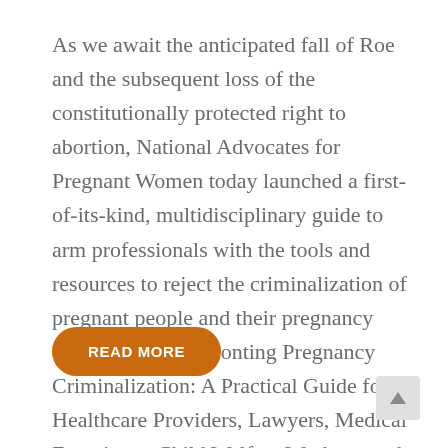As we await the anticipated fall of Roe and the subsequent loss of the constitutionally protected right to abortion, National Advocates for Pregnant Women today launched a first-of-its-kind, multidisciplinary guide to arm professionals with the tools and resources to reject the criminalization of pregnant people and their pregnancy outcomes — Confronting Pregnancy Criminalization: A Practical Guide for Healthcare Providers, Lawyers, Medical Examiners, Child Welfare Workers, and Policymakers.
READ MORE